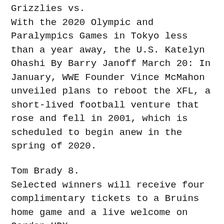Grizzlies vs.
With the 2020 Olympic and Paralympics Games in Tokyo less than a year away, the U.S. Katelyn Ohashi By Barry Janoff March 20: In January, WWE Founder Vince McMahon unveiled plans to reboot the XFL, a short-lived football venture that rose and fell in 2001, which is scheduled to begin anew in the spring of 2020.
Tom Brady 8.
Selected winners will receive four complimentary tickets to a Bruins home game and a live welcome on Garden HDX .
He gets the hat trick, David Quinn said afterward, and he just doesn't stop.
12 overall by the season's end.